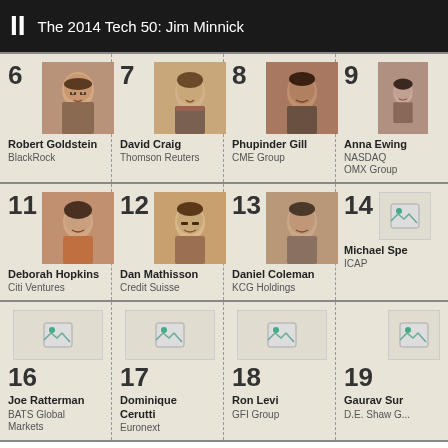II  The 2014 Tech 50: Jim Minnick
| Rank | Name | Organization |
| --- | --- | --- |
| 6 | Robert Goldstein | BlackRock |
| 7 | David Craig | Thomson Reuters |
| 8 | Phupinder Gill | CME Group |
| 9 | Anna Ewing | NASDAQ OMX Group |
| 11 | Deborah Hopkins | Citi Ventures |
| 12 | Dan Mathisson | Credit Suisse |
| 13 | Daniel Coleman | KCG Holdings |
| 14 | Michael Spe... | ICAP |
| 16 | Joe Ratterman | BATS Global Markets |
| 17 | Dominique Cerutti | Euronext |
| 18 | Ron Levi | GFI Group |
| 19 | Gaurav Sur... | D.E. Shaw G... |